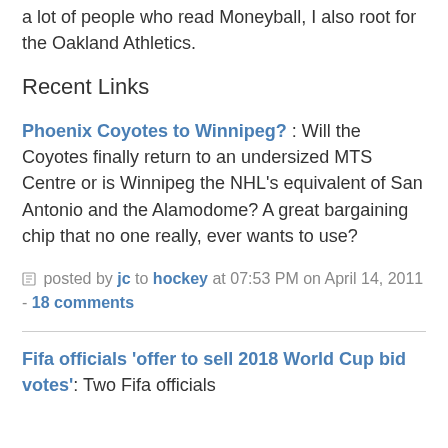a lot of people who read Moneyball, I also root for the Oakland Athletics.
Recent Links
Phoenix Coyotes to Winnipeg? : Will the Coyotes finally return to an undersized MTS Centre or is Winnipeg the NHL's equivalent of San Antonio and the Alamodome? A great bargaining chip that no one really, ever wants to use?
posted by jc to hockey at 07:53 PM on April 14, 2011 - 18 comments
Fifa officials 'offer to sell 2018 World Cup bid votes': Two Fifa officials